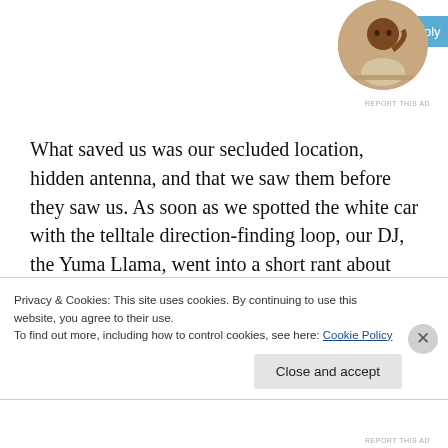[Figure (other): Blue 'Apply' button from an advertisement]
[Figure (photo): Circular profile photo of a man sitting at a desk, writing or working]
REPORT THIS AD
What saved us was our secluded location, hidden antenna, and that we saw them before they saw us. As soon as we spotted the white car with the telltale direction-finding loop, our DJ, the Yuma Llama, went into a short rant about censorship, commercial monopolization of the airwaves, and the fascism of the war on drugs (yes, it was a social blight then, too). As the Llama's vitriolic verbiage
Privacy & Cookies: This site uses cookies. By continuing to use this website, you agree to their use.
To find out more, including how to control cookies, see here: Cookie Policy
Close and accept
REPORT THIS AD